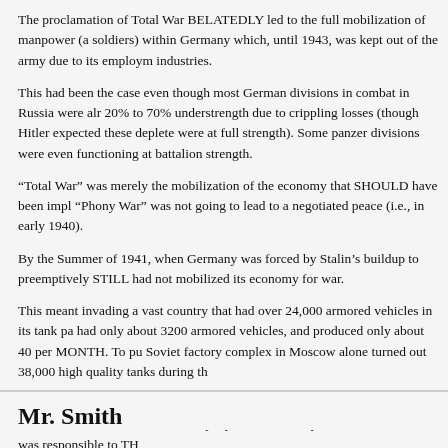The proclamation of Total War BELATEDLY led to the full mobilization of manpower (a soldiers) within Germany which, until 1943, was kept out of the army due to its employment in industries.
This had been the case even though most German divisions in combat in Russia were already 20% to 70% understrength due to crippling losses (though Hitler expected these depleted were at full strength). Some panzer divisions were even functioning at battalion strength.
“Total War” was merely the mobilization of the economy that SHOULD have been implemented when “Phony War” was not going to lead to a negotiated peace (i.e., in early 1940).
By the Summer of 1941, when Germany was forced by Stalin’s buildup to preemptively STILL had not mobilized its economy for war.
This meant invading a vast country that had over 24,000 armored vehicles in its tank park had only about 3200 armored vehicles, and produced only about 40 per MONTH. To put Soviet factory complex in Moscow alone turned out 38,000 high quality tanks during the war.
To commit the German people to “war in depth” in a life and death struggle without the support was criminal. The German people were not responsible to Hitler — he was responsible to THEM.
I suggest you read Albert Speer’s two memoirs that deal with his work as armaments minister and German war production when he took over the post in 1942, and I also suggest you avoid doing research on Stormfront.
Mr. Smith